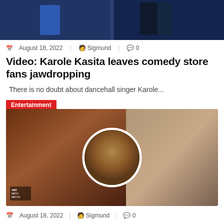[Figure (photo): Top banner photo showing dancers in blue and dark outfits]
August 18, 2022  Sigmund  0
Video: Karole Kasita leaves comedy store fans jawdropping
There is no doubt about dancehall singer Karole...
Entertainment
[Figure (photo): Composite photo of Karole Kasita showing three poses: smiling face on left, portrait headshot in circular frame in center, full body in pink outfit on right]
August 18, 2022  Sigmund  0